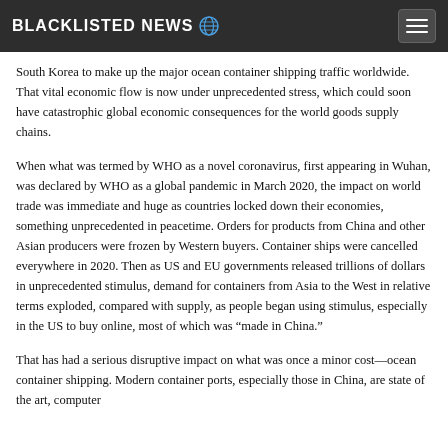BLACKLISTED NEWS
South Korea to make up the major ocean container shipping traffic worldwide. That vital economic flow is now under unprecedented stress, which could soon have catastrophic global economic consequences for the world goods supply chains.
When what was termed by WHO as a novel coronavirus, first appearing in Wuhan, was declared by WHO as a global pandemic in March 2020, the impact on world trade was immediate and huge as countries locked down their economies, something unprecedented in peacetime. Orders for products from China and other Asian producers were frozen by Western buyers. Container ships were cancelled everywhere in 2020. Then as US and EU governments released trillions of dollars in unprecedented stimulus, demand for containers from Asia to the West in relative terms exploded, compared with supply, as people began using stimulus, especially in the US to buy online, most of which was “made in China.”
That has had a serious disruptive impact on what was once a minor cost—ocean container shipping. Modern container ports, especially those in China, are state of the art, computer...